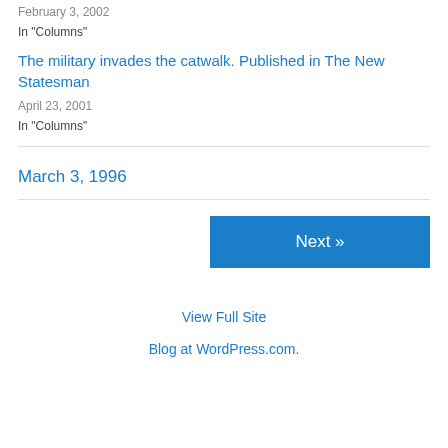February 3, 2002
In "Columns"
The military invades the catwalk. Published in The New Statesman
April 23, 2001
In "Columns"
March 3, 1996
Next »
View Full Site
Blog at WordPress.com.